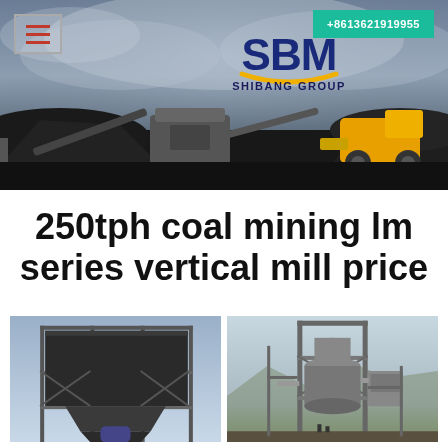[Figure (photo): SBM Shibang Group banner showing mining/crushing equipment (conveyor belts, crushers, yellow wheel loader) at a coal mining site with dramatic cloudy sky background. Logo with SBM text and 'SHIBANG GROUP' label visible at top center. Hamburger menu icon top-left, teal phone number button top-right.]
250tph coal mining lm series vertical mill price
[Figure (photo): Industrial dust collector or filter unit structure, a large black rectangular box on steel scaffolding frame, at a mining/industrial facility.]
[Figure (photo): Vertical mill tower structure at an industrial site, showing tall grey steel framework with cylindrical mill vessel and auxiliary equipment, mountains visible in background.]